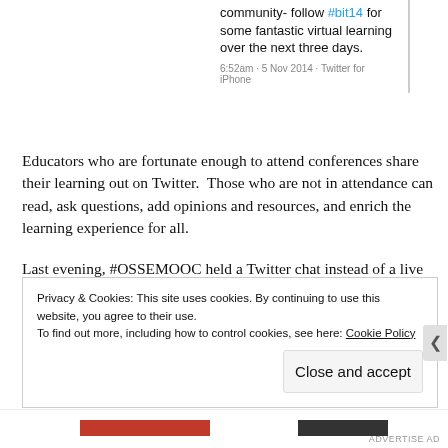[Figure (screenshot): Partial tweet card showing text 'community- follow #bit14 for some fantastic virtual learning over the next three days.' with timestamp '6:52am · 5 Nov 2014 · Twitter for iPhone']
Educators who are fortunate enough to attend conferences share their learning out on Twitter.  Those who are not in attendance can read, ask questions, add opinions and resources, and enrich the learning experience for all.
Last evening, #OSSEMOOC held a Twitter chat instead of a live meeting because so many educators were travelling.  You can see some of the conversation here.
Privacy & Cookies: This site uses cookies. By continuing to use this website, you agree to their use.
To find out more, including how to control cookies, see here: Cookie Policy